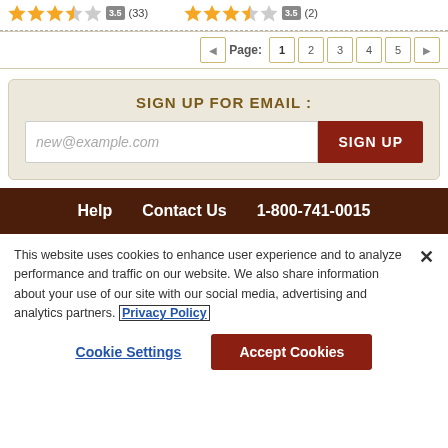[Figure (other): Two star rating groups: first shows 3.5 stars (33 reviews), second shows 3.5 stars (2 reviews)]
Page: 1 2 3 4 5 (pagination controls)
SIGN UP FOR EMAIL :
new@example.com (email input placeholder) | SIGN UP (button)
Help   Contact Us   1-800-741-0015
This website uses cookies to enhance user experience and to analyze performance and traffic on our website. We also share information about your use of our site with our social media, advertising and analytics partners. Privacy Policy
Cookie Settings | Accept Cookies